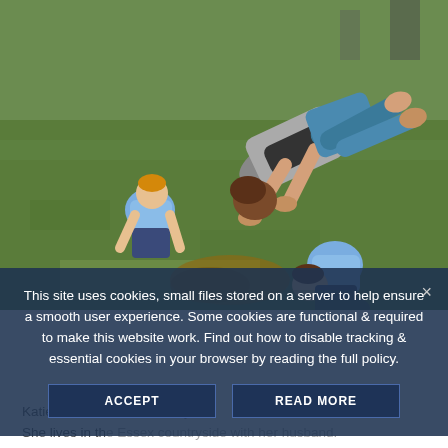[Figure (photo): A woman doing a plank or push-up exercise on grass outdoors, with two young boys in matching light blue printed shirts also crouched down near her, appearing to imitate her exercise. The setting is a grassy backyard or park area.]
This site uses cookies, small files stored on a server to help ensure a smooth user experience. Some cookies are functional & required to make this website work. Find out how to disable tracking & essential cookies in your browser by reading the full policy.
Katie Flaxman ... twin boys. She lives in the Essex countryside with her husband.